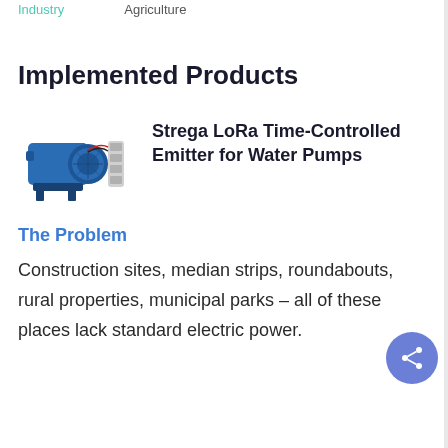Industry   Agriculture
Implemented Products
[Figure (photo): Photo of a blue electric water pump motor with wires attached]
Strega LoRa Time-Controlled Emitter for Water Pumps
The Problem
Construction sites, median strips, roundabouts, rural properties, municipal parks – all of these places lack standard electric power.